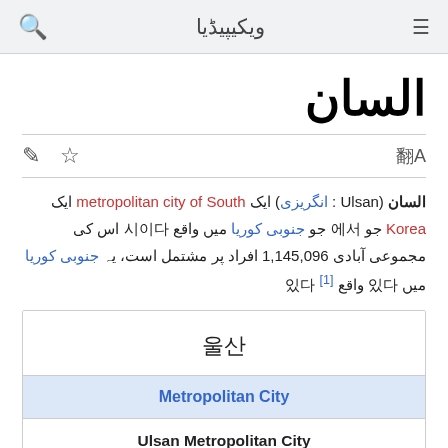🔍  ویکیپیڈیا  ≡
السان
السان (Ulsan : انگریزی) ایک metropolitan city of South Korea جو 에 جو جنوبی کوریا میں واقع 시이다 اس کی مجموعی آبادی 1,145,096 افراد پر مشتمل است، یہ جنوبی کوریا میں واقع 있다 [1]
| 울산 |
| Metropolitan City |
| Ulsan Metropolitan City |